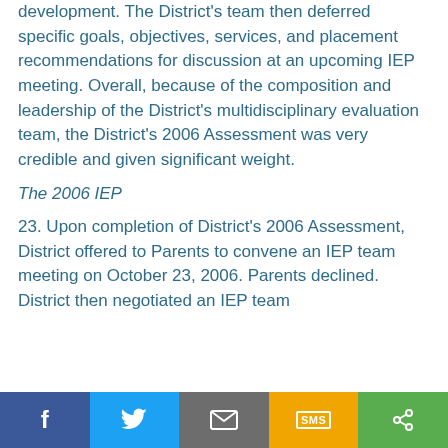development. The District's team then deferred specific goals, objectives, services, and placement recommendations for discussion at an upcoming IEP meeting. Overall, because of the composition and leadership of the District's multidisciplinary evaluation team, the District's 2006 Assessment was very credible and given significant weight.
The 2006 IEP
23. Upon completion of District's 2006 Assessment, District offered to Parents to convene an IEP team meeting on October 23, 2006. Parents declined. District then negotiated an IEP team